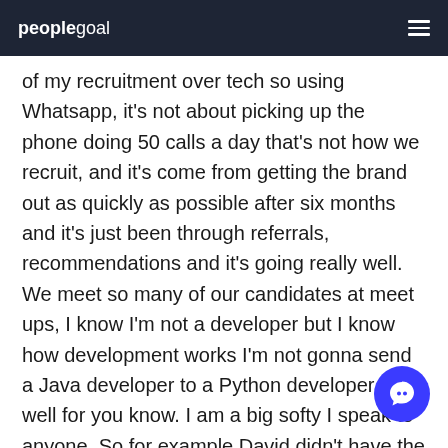peoplegoal
of my recruitment over tech so using Whatsapp, it's not about picking up the phone doing 50 calls a day that's not how we recruit, and it's come from getting the brand out as quickly as possible after six months and it's just been through referrals, recommendations and it's going really well. We meet so many of our candidates at meet ups, I know I'm not a developer but I know how development works I'm not gonna send a Java developer to a Python developer role well for you know. I am a big softy I speak to anyone. So for example David didn't have the perfect skill set but it's just about digging a bit deeper and finding that out and as soon as you do pick up the phone the nitty and gritty you can unravel some amazing things and go: 'okay it doesn't have this but what